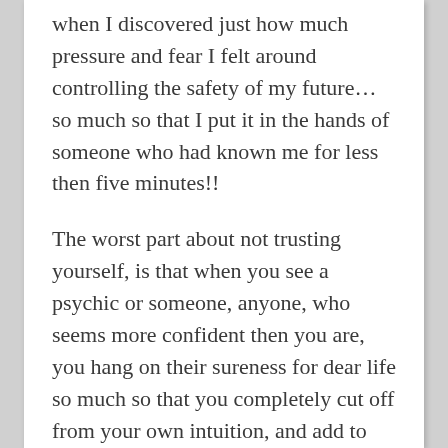when I discovered just how much pressure and fear I felt around controlling the safety of my future… so much so that I put it in the hands of someone who had known me for less then five minutes!!
The worst part about not trusting yourself, is that when you see a psychic or someone, anyone, who seems more confident then you are, you hang on their sureness for dear life so much so that you completely cut off from your own intuition, and add to your own mistrust!